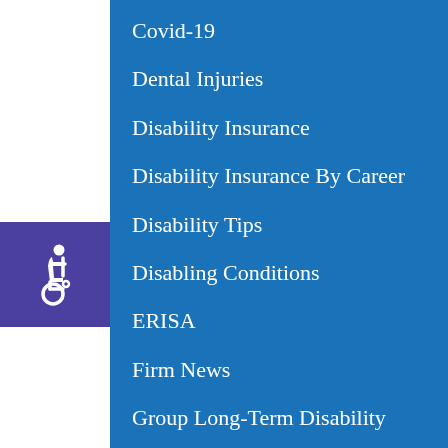[Figure (illustration): Wheelchair accessibility icon (white symbol on purple/indigo background) in the left sidebar]
Covid-19
Dental Injuries
Disability Insurance
Disability Insurance By Career
Disability Tips
Disabling Conditions
ERISA
Firm News
Group Long-Term Disability